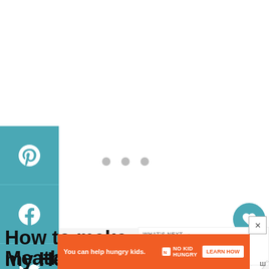[Figure (screenshot): Social media sharing sidebar with Pinterest, Facebook, Twitter, Yummly, and email icons in teal color scheme on left side of page]
[Figure (infographic): Heart/like button showing 569 count and share button on right side]
How to make my Healthy Meatballs Recipe with Pineapple
[Figure (screenshot): What's Next panel showing Summertime Grilled... with thumbnail image]
[Figure (screenshot): No Kid Hungry advertisement banner: You can help hungry kids. LEARN HOW]